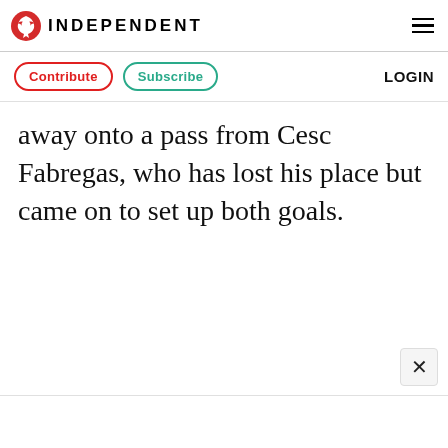INDEPENDENT
Contribute  Subscribe  LOGIN
away onto a pass from Cesc Fabregas, who has lost his place but came on to set up both goals.